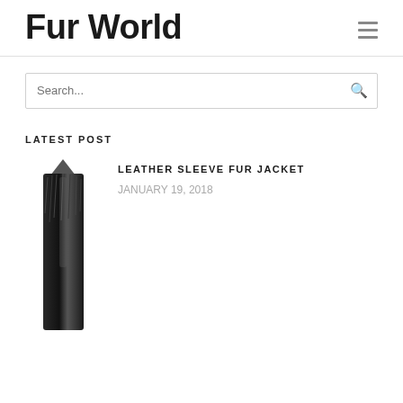Fur World
LATEST POST
[Figure (photo): Partial image of a leather sleeve fur jacket, showing a dark furry/leather sleeve or collar detail against white background]
LEATHER SLEEVE FUR JACKET
January 19, 2018